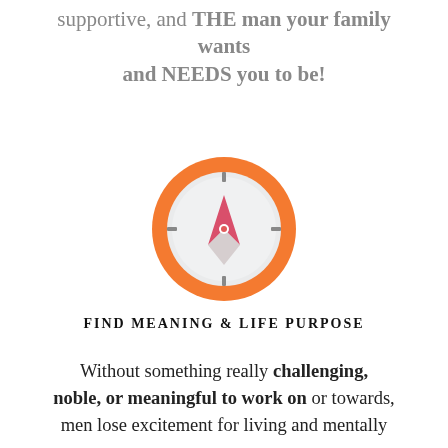supportive, and THE man your family wants and NEEDS you to be!
[Figure (illustration): Orange compass icon with a red/pink needle pointing northeast, on a light grey face with tick marks at cardinal points]
FIND MEANING & LIFE PURPOSE
Without something really challenging, noble, or meaningful to work on or towards, men lose excitement for living and mentally